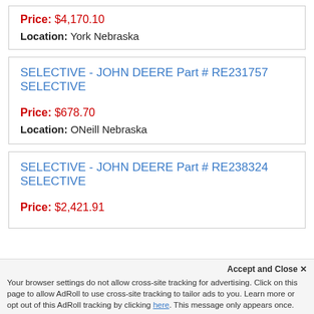Price: $4,170.10
Location: York Nebraska
SELECTIVE - JOHN DEERE Part # RE231757 SELECTIVE
Price: $678.70
Location: ONeill Nebraska
SELECTIVE - JOHN DEERE Part # RE238324 SELECTIVE
Price: $2,421.91
Location: Elkhorn Nebraska
Accept and Close ✕
Your browser settings do not allow cross-site tracking for advertising. Click on this page to allow AdRoll to use cross-site tracking to tailor ads to you. Learn more or opt out of this AdRoll tracking by clicking here. This message only appears once.